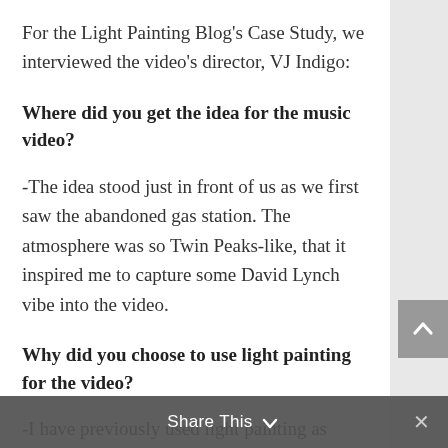For the Light Painting Blog's Case Study, we interviewed the video's director, VJ Indigo:
Where did you get the idea for the music video?
-The idea stood just in front of us as we first saw the abandoned gas station. The atmosphere was so Twin Peaks-like, that it inspired me to capture some David Lynch vibe into the video.
Why did you choose to use light painting for the video?
-I have previously used light painting as method to get layers for vj visuals. I try to make many different single images of the same view, so they